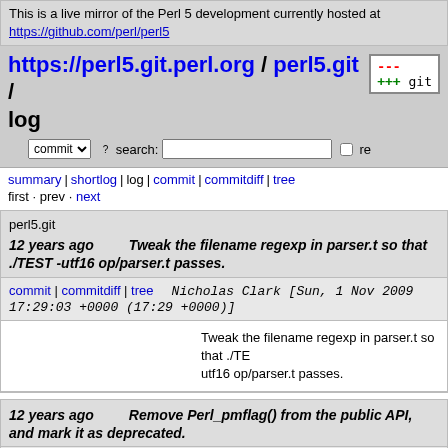This is a live mirror of the Perl 5 development currently hosted at https://github.com/perl/perl5
https://perl5.git.perl.org / perl5.git / log
commit search: re
summary | shortlog | log | commit | commitdiff | tree
first · prev · next
perl5.git
12 years ago  Tweak the filename regexp in parser.t so that ./TEST -utf16 op/parser.t passes.
commit | commitdiff | tree  Nicholas Clark [Sun, 1 Nov 2009 17:29:03 +0000 (17:29 +0000)]
Tweak the filename regexp in parser.t so that ./TEST -utf16 op/parser.t passes.
12 years ago  Remove Perl_pmflag() from the public API, and mark it as deprecated.
commit | commitdiff | tree  Nicholas Clark [Sun, 1 Nov 2009 16:43:22 +0000 (16:43 +0000)]
Remove Perl_pmflag() from the public API, and m...